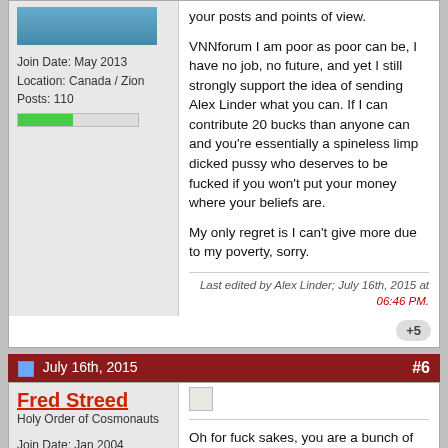Join Date: May 2013
Location: Canada / Zion
Posts: 110
your posts and points of view.

VNNforum I am poor as poor can be, I have no job, no future, and yet I still strongly support the idea of sending Alex Linder what you can. If I can contribute 20 bucks than anyone can and you're essentially a spineless limp dicked pussy who deserves to be fucked if you won't put your money where your beliefs are.

My only regret is I can't give more due to my poverty, sorry.
Last edited by Alex Linder; July 16th, 2015 at 06:46 PM.
July 16th, 2015  #6
Fred Streed
Holy Order of Cosmonauts

Join Date: Jan 2004
Posts: 4,050
Oh for fuck sakes, you are a bunch of annoying fuckers. OK, I just paypaled the Linder a few bucks. I could have bought a couple of really nice cigars with that. Surely the fair is not done...